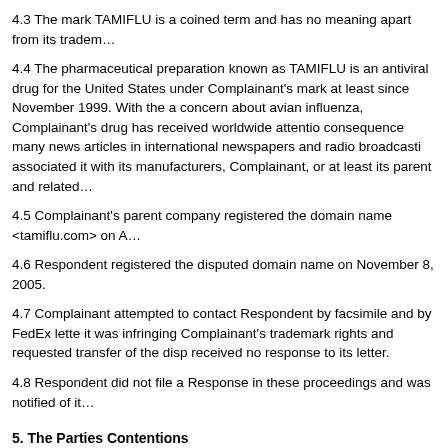4.3 The mark TAMIFLU is a coined term and has no meaning apart from its tradem...
4.4 The pharmaceutical preparation known as TAMIFLU is an antiviral drug for the United States under Complainant's mark at least since November 1999. With the a concern about avian influenza, Complainant's drug has received worldwide attentio consequence many news articles in international newspapers and radio broadcasti associated it with its manufacturers, Complainant, or at least its parent and related
4.5 Complainant's parent company registered the domain name <tamiflu.com> on A
4.6 Respondent registered the disputed domain name on November 8, 2005.
4.7 Complainant attempted to contact Respondent by facsimile and by FedEx lette it was infringing Complainant's trademark rights and requested transfer of the disp received no response to its letter.
4.8 Respondent did not file a Response in these proceedings and was notified of it
5. The Parties Contentions
A. Complainant
5.1 Complainant contends that it has trademark rights in the mark TAMIFLU by virt Trademark Office.
5.2 Complainant further contends that the disputed domain name is identical or co has rights, i.e., the disputed domain name incorporates Complainant's mark in its e
5.3 Complainant contends that Respondent has no rights or legitimate interests in t commonly known by that name.
5.4 Complainant contends that it has not authorized Respondent to use Complaina